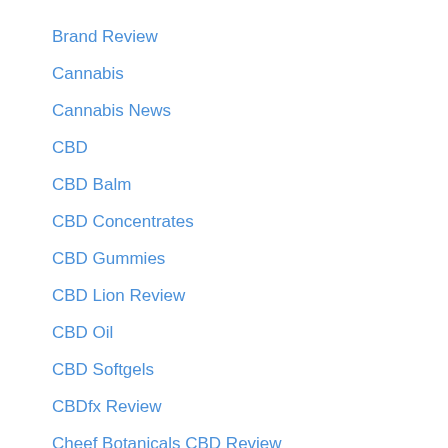Brand Review
Cannabis
Cannabis News
CBD
CBD Balm
CBD Concentrates
CBD Gummies
CBD Lion Review
CBD Oil
CBD Softgels
CBDfx Review
Cheef Botanicals CBD Review
FAB CBD Review